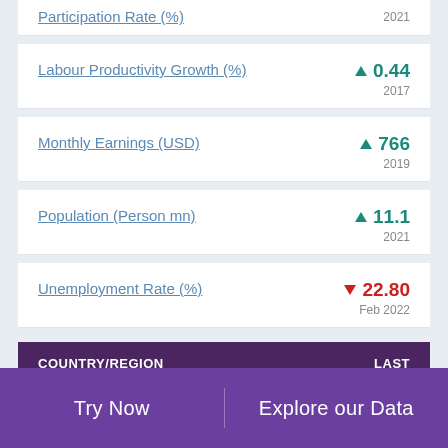Participation Rate (%) — 2021
Labour Productivity Growth (%) ▲ 0.44 — 2017
Monthly Earnings (USD) ▲ 766 — 2019
Population (Person mn) ▲ 11.1 — 2021
Unemployment Rate (%) ▼ 22.80 — Feb 2022
| COUNTRY/REGION | LAST |
| --- | --- |
|  |   |
Try Now | Explore our Data